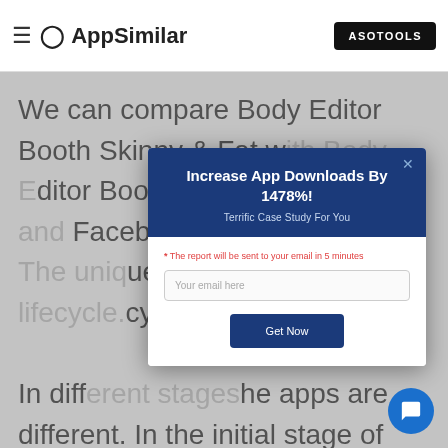AppSimilar | ASOTOOLS
We can compare Body Editor Booth Skinny & Fat w[...] ditor Booth[...] ge rating[...] Faceb[...] is popul[...] ue app a[...] cycle. In diff[...] he apps are different. In the initial stage of app operation, acquiring users is the core goal downloads is the core data indicators we should
[Figure (screenshot): Modal popup with blue header 'Increase App Downloads By 1478%! Terrific Case Study For You', email input field, and 'Get Now' button]
[Figure (other): Blue circular chat bubble button in bottom right corner]